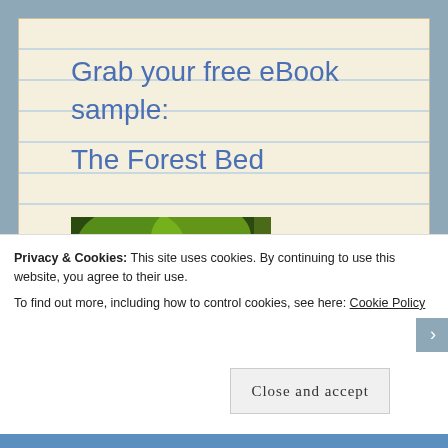Grab your free eBook sample:
The Forest Bed
[Figure (photo): Book cover for 'The Forest Bed' short stories by Shaily Agrawal | Manp, showing a fantasy forest scene with green glowing elements, a yellow-green banner reading 'Short stories', and large white title text 'The Fo...' partially visible]
Privacy & Cookies: This site uses cookies. By continuing to use this website, you agree to their use.
To find out more, including how to control cookies, see here: Cookie Policy
Close and accept